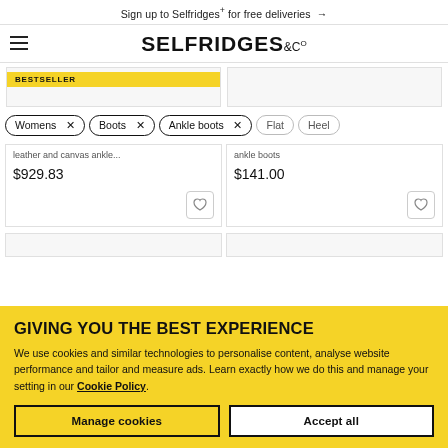Sign up to Selfridges+ for free deliveries →
[Figure (logo): Selfridges & Co logo with hamburger menu icon on the left]
[Figure (screenshot): BESTSELLER badge on a product card image area]
Womens ×
Boots ×
Ankle boots ×
Flat
Heel
leather and canvas ankle... $929.83
ankle boots $141.00
GIVING YOU THE BEST EXPERIENCE
We use cookies and similar technologies to personalise content, analyse website performance and tailor and measure ads. Learn exactly how we do this and manage your setting in our Cookie Policy.
Manage cookies
Accept all